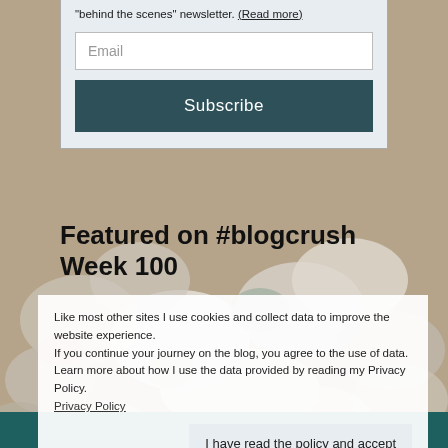"behind the scenes" newsletter. (Read more)
Email
Subscribe
Featured on #blogcrush Week 100
Like most other sites I use cookies and collect data to improve the website experience.
If you continue your journey on the blog, you agree to the use of data.
Learn more about how I use the data provided by reading my Privacy Policy.
Privacy Policy
I have read the policy and accept
WITH